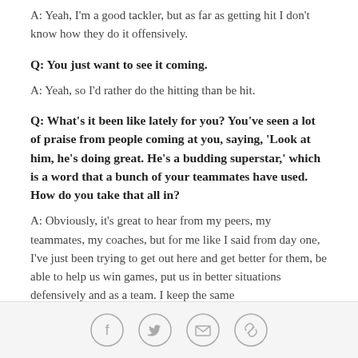A: Yeah, I'm a good tackler, but as far as getting hit I don't know how they do it offensively.
Q: You just want to see it coming.
A: Yeah, so I'd rather do the hitting than be hit.
Q: What's it been like lately for you? You've seen a lot of praise from people coming at you, saying, 'Look at him, he's doing great. He's a budding superstar,' which is a word that a bunch of your teammates have used. How do you take that all in?
A: Obviously, it's great to hear from my peers, my teammates, my coaches, but for me like I said from day one, I've just been trying to get out here and get better for them, be able to help us win games, put us in better situations defensively and as a team. I keep the same
[Figure (other): Social media sharing icons: Facebook, Twitter, Email, Link]